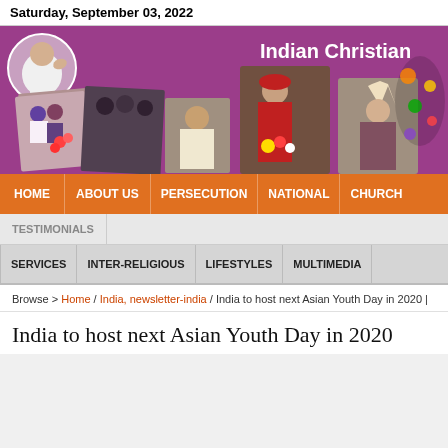Saturday, September 03, 2022
[Figure (photo): Indian Christian website banner with photos of Pope Francis, church leaders, cardinals, and Indian Christian community members on a purple/mauve background with text 'Indian Christian']
HOME | ABOUT US | PERSECUTION | NATIONAL | CHURCH
TESTIMONIALS
SERVICES | INTER-RELIGIOUS | LIFESTYLES | MULTIMEDIA
Browse > Home / India, newsletter-india / India to host next Asian Youth Day in 2020 |
India to host next Asian Youth Day in 2020